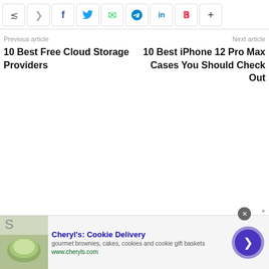[Figure (screenshot): Social sharing bar with icons: share, arrow, Facebook, Twitter, WhatsApp, Telegram, LinkedIn, Pinterest, plus]
Previous article
10 Best Free Cloud Storage Providers
Next article
10 Best iPhone 12 Pro Max Cases You Should Check Out
[Figure (infographic): Advertisement banner: Cheryl's Cookie Delivery — gourmet brownies, cakes, cookies and cookie gift baskets — www.cheryls.com — with food image on left and navigation arrow on right]